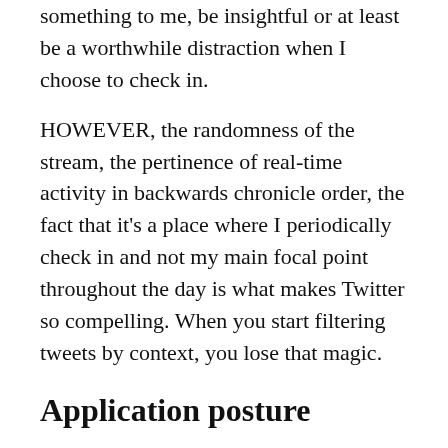something to me, be insightful or at least be a worthwhile distraction when I choose to check in.
HOWEVER, the randomness of the stream, the pertinence of real-time activity in backwards chronicle order, the fact that it's a place where I periodically check in and not my main focal point throughout the day is what makes Twitter so compelling. When you start filtering tweets by context, you lose that magic.
Application posture
I can concede that not everyone uses Twitter in the way I do. Maybe you check in far less frequently. Maybe you follow many more people. Maybe you just can't keep up :) But then please tell me, why oh why would you be